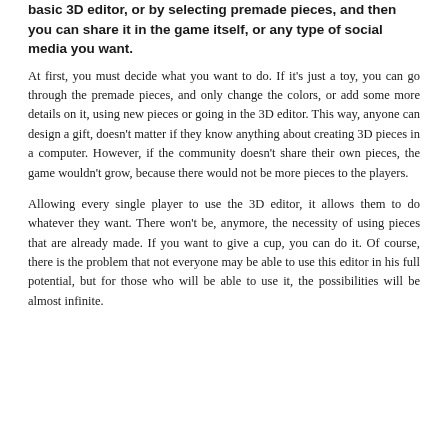basic 3D editor, or by selecting premade pieces, and then you can share it in the game itself, or any type of social media you want.
At first, you must decide what you want to do. If it's just a toy, you can go through the premade pieces, and only change the colors, or add some more details on it, using new pieces or going in the 3D editor. This way, anyone can design a gift, doesn't matter if they know anything about creating 3D pieces in a computer. However, if the community doesn't share their own pieces, the game wouldn't grow, because there would not be more pieces to the players.
Allowing every single player to use the 3D editor, it allows them to do whatever they want. There won't be, anymore, the necessity of using pieces that are already made. If you want to give a cup, you can do it. Of course, there is the problem that not everyone may be able to use this editor in his full potential, but for those who will be able to use it, the possibilities will be almost infinite.